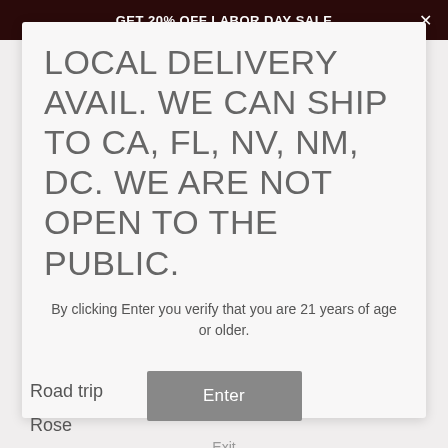GET 20% OFF LABOR DAY SALE
LOCAL DELIVERY AVAIL. WE CAN SHIP TO CA, FL, NV, NM, DC. WE ARE NOT OPEN TO THE PUBLIC.
By clicking Enter you verify that you are 21 years of age or older.
Enter
Exit
Road trip
Rose